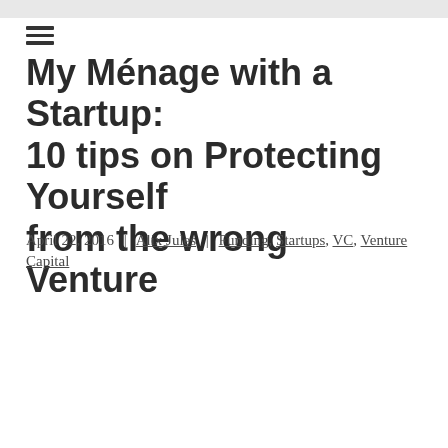My Ménage with a Startup: 10 tips on Protecting Yourself from the wrong Venture
April 22, 2016  |  Alix Jules  |  Funding, Startups, VC, Venture Capital